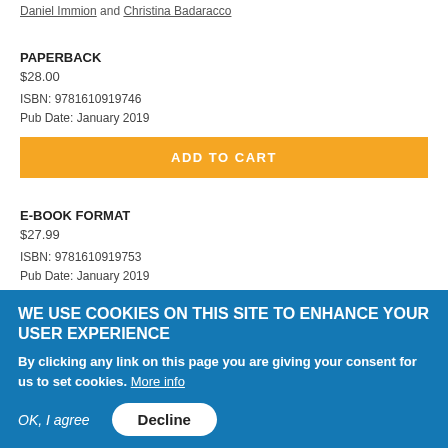Daniel Immion and Christina Badaracco
PAPERBACK
$28.00
ISBN: 9781610919746
Pub Date: January 2019
ADD TO CART
E-BOOK FORMAT
$27.99
ISBN: 9781610919753
Pub Date: January 2019
ADD TO CART
WE USE COOKIES ON THIS SITE TO ENHANCE YOUR USER EXPERIENCE
By clicking any link on this page you are giving your consent for us to set cookies. More info
OK, I agree
Decline